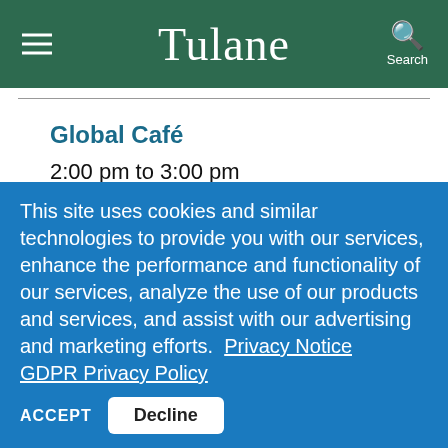Tulane
Global Café
2:00 pm to 3:00 pm
Uptown Campus, LBC Rosenberg Mazzanine
EVENT DETAILS »
This site uses cookies and similar technologies to provide you with our services, enhance the performance and functionality of our services, analyze the use of our products and services, and assist with our advertising and marketing efforts.  Privacy Notice   GDPR Privacy Policy
ACCEPT   Decline